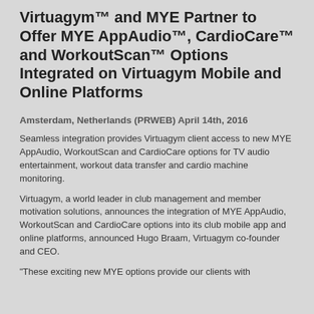Virtuagym™ and MYE Partner to Offer MYE AppAudio™, CardioCare™ and WorkoutScan™ Options Integrated on Virtuagym Mobile and Online Platforms
Amsterdam, Netherlands (PRWEB) April 14th, 2016
Seamless integration provides Virtuagym client access to new MYE AppAudio, WorkoutScan and CardioCare options for TV audio entertainment, workout data transfer and cardio machine monitoring.
Virtuagym, a world leader in club management and member motivation solutions, announces the integration of MYE AppAudio, WorkoutScan and CardioCare options into its club mobile app and online platforms, announced Hugo Braam, Virtuagym co-founder and CEO.
"These exciting new MYE options provide our clients with